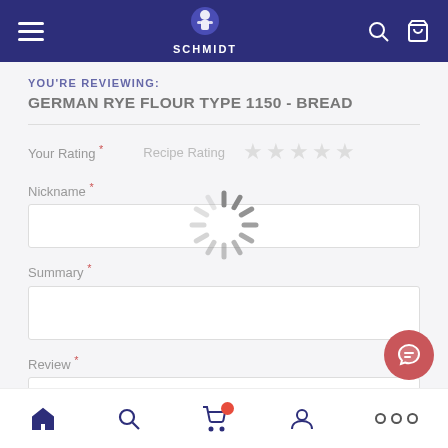Schmidt header navigation
YOU'RE REVIEWING:
GERMAN RYE FLOUR TYPE 1150 - BREAD
Your Rating *
Recipe Rating ★★★★★
Nickname *
Summary *
Review *
[Figure (other): Loading spinner overlay on top of review form]
Bottom navigation bar with home, search, cart, account, more icons